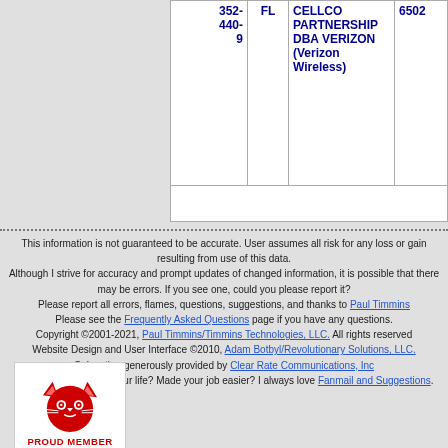| NPA-NXX | State | Carrier | OCN |
| --- | --- | --- | --- |
| 352-440-9 | FL | CELLCO PARTNERSHIP DBA VERIZON (Verizon Wireless) | 6502 |
This information is not guaranteed to be accurate. User assumes all risk for any loss or gain resulting from use of this data. Although I strive for accuracy and prompt updates of changed information, it is possible that there may be errors. If you see one, could you please report it? Please report all errors, flames, questions, suggestions, and thanks to Paul Timmins. Please see the Frequently Asked Questions page if you have any questions. Copyright ©2001-2021, Paul Timmins/Timmins Technologies, LLC. All rights reserved. Website Design and User Interface ©2010, Adam Botbyl/Revolutionary Solutions, LLC. Colocation generously provided by Clear Rate Communications, Inc. Has this site changed your life? Made your job easier? I always love Fanmail and Suggestions.
[Figure (logo): Red cartoon cat face logo with text PROUD MEMBER below]